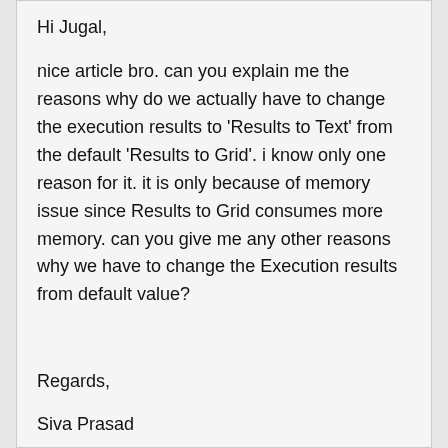Hi Jugal,
nice article bro. can you explain me the reasons why do we actually have to change the execution results to 'Results to Text' from the default 'Results to Grid'. i know only one reason for it. it is only because of memory issue since Results to Grid consumes more memory. can you give me any other reasons why we have to change the Execution results from default value?
Regards,
Siva Prasad